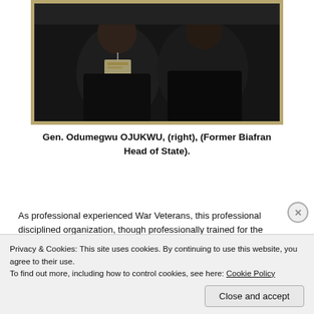[Figure (photo): Framed photograph showing two men seated, one wearing a name badge on a lanyard, dark clothing, indoor event setting.]
Gen. Odumegwu OJUKWU, (right), (Former Biafran Head of State).
As professional experienced War Veterans, this professional disciplined organization, though professionally trained for the
Privacy & Cookies: This site uses cookies. By continuing to use this website, you agree to their use.
To find out more, including how to control cookies, see here: Cookie Policy
Close and accept